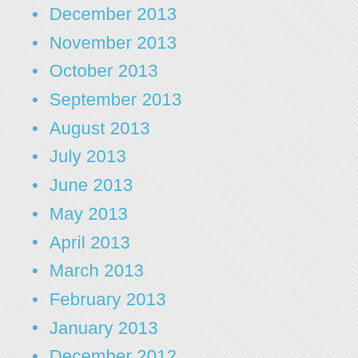December 2013
November 2013
October 2013
September 2013
August 2013
July 2013
June 2013
May 2013
April 2013
March 2013
February 2013
January 2013
December 2012
November 2012
October 2012
September 2012
August 2012
July 2012
June 2012
May 2012